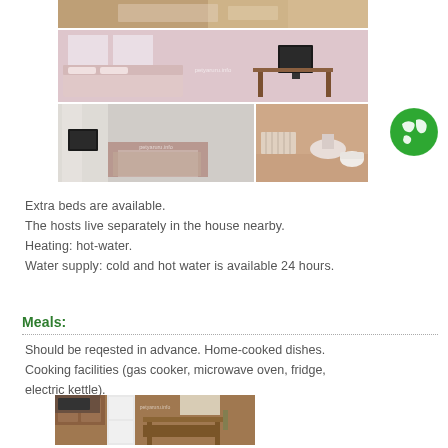[Figure (photo): Top strip photo of bedroom]
[Figure (photo): Middle bedroom photo with TV and bed]
[Figure (photo): Bottom left bedroom photo with sofa and bed]
[Figure (photo): Bottom right bathroom photo with sink and radiator]
[Figure (illustration): Green globe/world icon]
Extra beds are available.
The hosts live separately in the house nearby.
Heating: hot-water.
Water supply: cold and hot water is available 24 hours.
Meals:
Should be reqested in advance. Home-cooked dishes. Cooking facilities (gas cooker, microwave oven, fridge, electric kettle).
[Figure (photo): Kitchen photo with dining table and cooking appliances]
Locally made dairy and meat foodstuffs, vegetables.
The nearest café and shop are 250 m far.